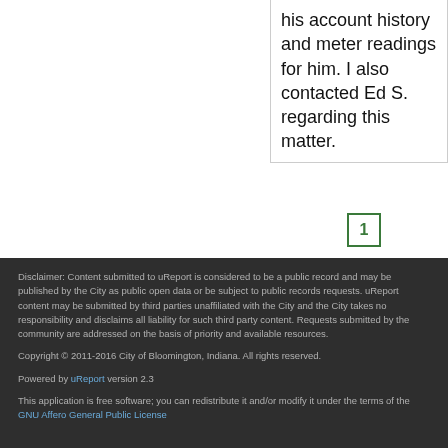his account history and meter readings for him. I also contacted Ed S. regarding this matter.
1
Disclaimer: Content submitted to uReport is considered to be a public record and may be published by the City as public open data or be subject to public records requests. uReport content may be submitted by third parties unaffiliated with the City and the City takes no responsibility and disclaims all liability for such third party content. Requests submitted by the community are addressed on the basis of priority and available resources.
Copyright © 2011-2016 City of Bloomington, Indiana. All rights reserved.
Powered by uReport version 2.3
This application is free software; you can redistribute it and/or modify it under the terms of the GNU Affero General Public License